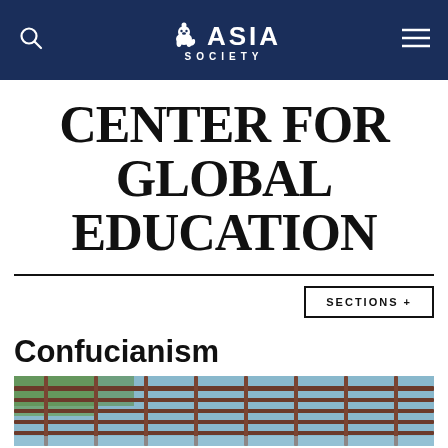ASIA SOCIETY
CENTER FOR GLOBAL EDUCATION
SECTIONS +
Confucianism
[Figure (photo): Outdoor architectural structure with lattice/pergola roof and trees visible in background, photographed from below.]